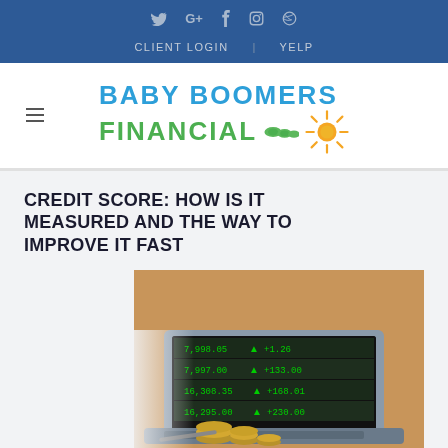Twitter  G+  Facebook  Instagram  Dribbble | CLIENT LOGIN  YELP
[Figure (logo): Baby Boomers Financial logo with sun and money icons]
CREDIT SCORE: HOW IS IT MEASURED AND THE WAY TO IMPROVE IT FAST
[Figure (photo): Laptop showing stock market ticker data with coins and pen on wooden desk]